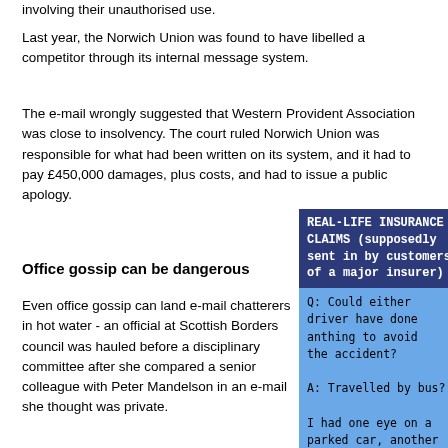involving their unauthorised use.
Last year, the Norwich Union was found to have libelled a competitor through its internal message system.
The e-mail wrongly suggested that Western Provident Association was close to insolvency. The court ruled Norwich Union was responsible for what had been written on its system, and it had to pay £450,000 damages, plus costs, and had to issue a public apology.
Office gossip can be dangerous
Even office gossip can land e-mail chatterers in hot water - an official at Scottish Borders council was hauled before a disciplinary committee after she compared a senior colleague with Peter Mandelson in an e-mail she thought was private.
And earlier this year two office workers having an affair won unfair dismissal claims against a housing
[Figure (infographic): Blue box with dark navy header reading 'REAL-LIFE INSURANCE CLAIMS (supposedly sent in by customers of a major insurer)' and light blue body with monospace text of humorous insurance claim Q&A answers.]